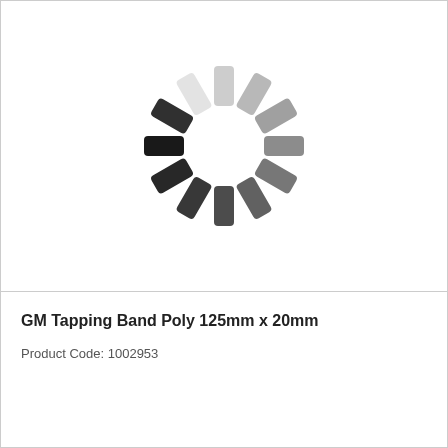[Figure (illustration): A loading spinner graphic — rounded rectangular segments arranged in a circle, transitioning from white/light gray at the top-left to dark gray/black at the bottom, resembling a classic circular loading indicator.]
GM Tapping Band Poly 125mm x 20mm
Product Code: 1002953